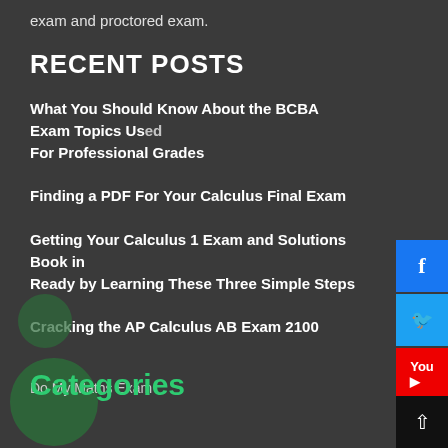exam and proctored exam.
RECENT POSTS
What You Should Know About the BCBA Exam Topics Used For Professional Grades
Finding a PDF For Your Calculus Final Exam
Getting Your Calculus 1 Exam and Solutions Book in Ready by Learning These Three Simple Steps
Cracking the AP Calculus AB Exam 2100
Categories
Do My Maths Exam